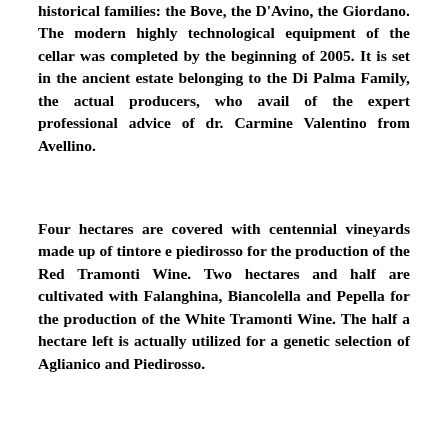historical families: the Bove, the D'Avino, the Giordano. The modern highly technological equipment of the cellar was completed by the beginning of 2005. It is set in the ancient estate belonging to the Di Palma Family, the actual producers, who avail of the expert professional advice of dr. Carmine Valentino from Avellino.
Four hectares are covered with centennial vineyards made up of tintore e piedirosso for the production of the Red Tramonti Wine. Two hectares and half are cultivated with Falanghina, Biancolella and Pepella for the production of the White Tramonti Wine. The half a hectare left is actually utilized for a genetic selection of Aglianico and Piedirosso.